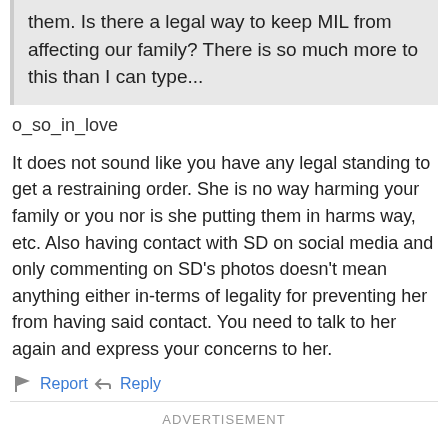about our concerns but she dismissed them. Is there a legal way to keep MIL from affecting our family? There is so much more to this than I can type...
o_so_in_love
It does not sound like you have any legal standing to get a restraining order. She is no way harming your family or you nor is she putting them in harms way, etc. Also having contact with SD on social media and only commenting on SD's photos doesn't mean anything either in-terms of legality for preventing her from having said contact. You need to talk to her again and express your concerns to her.
Report   Reply
ADVERTISEMENT